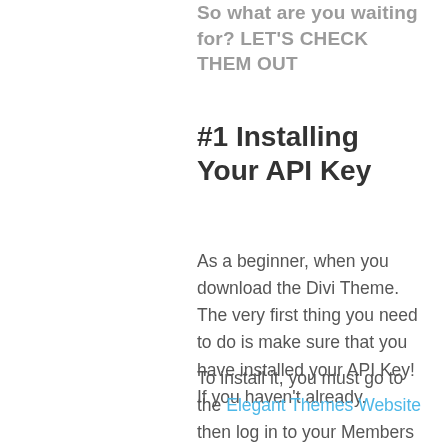So what are you waiting for? LET'S CHECK THEM OUT
#1 Installing Your API Key
As a beginner, when you download the Divi Theme. The very first thing you need to do is make sure that you have installed your API Key! If you haven't already.
To install it, you must go to the Elegant Themes Website then log in to your Members Area.